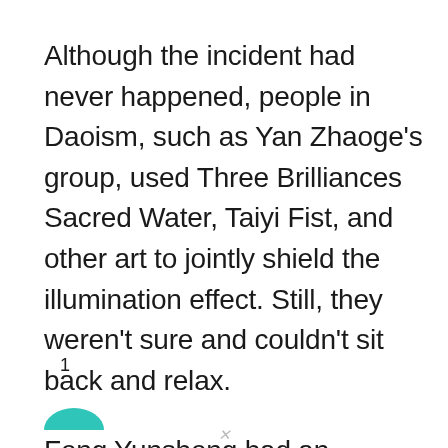Although the incident had never happened, people in Daoism, such as Yan Zhaoge's group, used Three Brilliances Sacred Water, Taiyi Fist, and other art to jointly shield the illumination effect. Still, they weren't sure and couldn't sit back and relax.
Feng Yunsheng had an unswerving determination, and she wasn't concerned about her situation with the Nine Underworlds. On the contrary, the issue of her close friend bothered her.
1